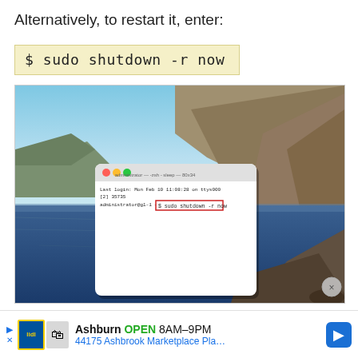Alternatively, to restart it, enter:
[Figure (screenshot): macOS Catalina desktop screenshot showing a Terminal window with the command '$ sudo shutdown -r now' highlighted in a red rectangle. The desktop background shows a coastal cliff scene. A navigation icon and close button are visible.]
[Figure (other): Advertisement bar: Lidl logo, 'Ashburn OPEN 8AM-9PM', '44175 Ashbrook Marketplace Pla...' with navigation arrow icon.]